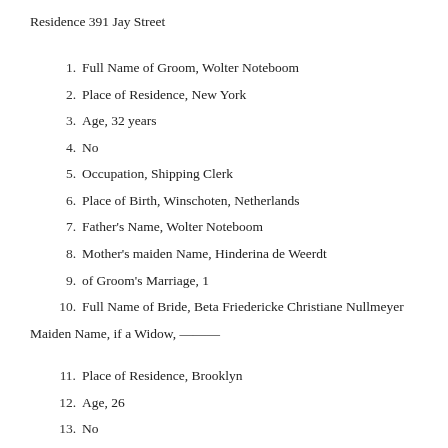Residence 391 Jay Street
1. Full Name of Groom, Wolter Noteboom
2. Place of Residence, New York
3. Age, 32 years
4. No
5. Occupation, Shipping Clerk
6. Place of Birth, Winschoten, Netherlands
7. Father's Name, Wolter Noteboom
8. Mother's maiden Name, Hinderina de Weerdt
9. of Groom's Marriage, 1
10. Full Name of Bride, Beta Friedericke Christiane Nullmeyer
Maiden Name, if a Widow, ———
11. Place of Residence, Brooklyn
12. Age, 26
13. No
14. Place of Birth, Bremen, Germany
15. Father's Name, Albert Nullmeyer